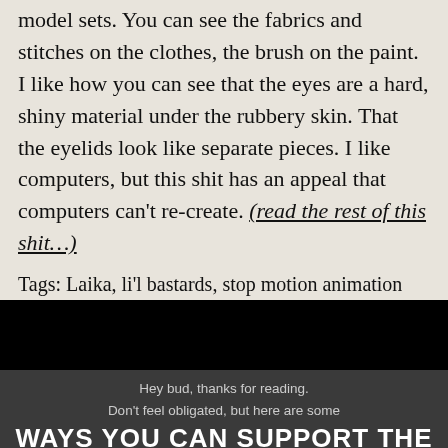model sets. You can see the fabrics and stitches on the clothes, the brush on the paint. I like how you can see that the eyes are a hard, shiny material under the rubbery skin. That the eyelids look like separate pieces. I like computers, but this shit has an appeal that computers can't re-create. (read the rest of this shit…)
Tags: Laika, li'l bastards, stop motion animation
Posted in Cartoons and Shit, Reviews | 9 Comments »
Hey bud, thanks for reading.
Don't feel obligated, but here are some
WAYS YOU CAN SUPPORT THE SHIT